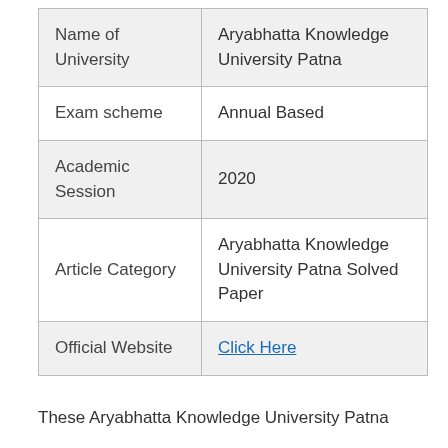| Name of University | Aryabhatta Knowledge University Patna |
| Exam scheme | Annual Based |
| Academic Session | 2020 |
| Article Category | Aryabhatta Knowledge University Patna Solved Paper |
| Official Website | Click Here |
These Aryabhatta Knowledge University Patna